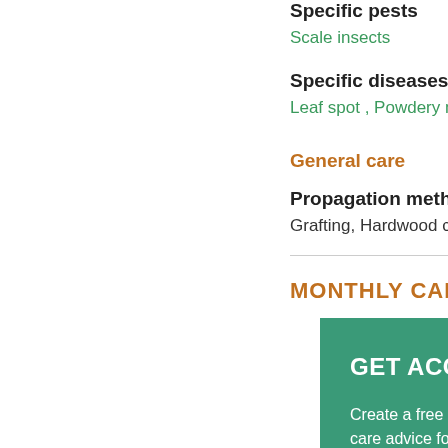Specific pests
Scale insects
Specific diseases
Leaf spot , Powdery milde...
General care
Propagation methods
Grafting, Hardwood cutting...
MONTHLY CARE A...
GET ACCESS TO...
Create a free SHOOT... care advice for this a...
You'll also receive ha... doing. Create your fre...
CR...